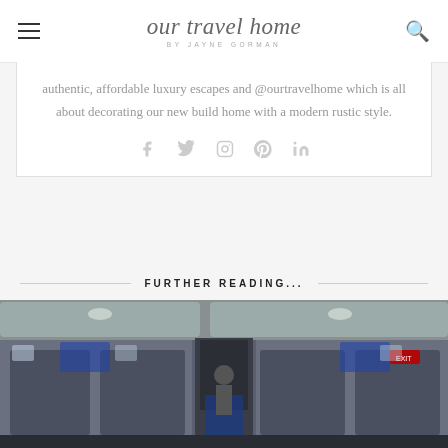our travel home BY JAYNE GORMAN
authentic, affordable luxury escapes and @ourtravelhome which is all about decorating our new build home with a modern rustic style.
[Figure (other): Social media icons: Facebook, Twitter, Instagram, Pinterest, LinkedIn]
FURTHER READING...
[Figure (photo): Interior of an airplane cabin showing aisle, seats, overhead compartments, and flight attendant in the background]